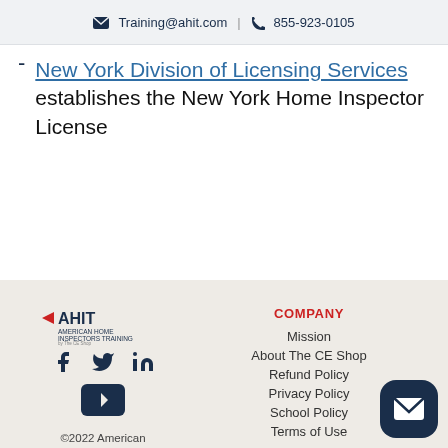✉ Training@ahit.com | ☎ 855-923-0105
New York Division of Licensing Services establishes the New York Home Inspector License
[Figure (logo): AHIT American Home Inspectors Training logo]
[Figure (illustration): Social media icons: Facebook, Twitter, LinkedIn, YouTube]
COMPANY
Mission
About The CE Shop
Refund Policy
Privacy Policy
School Policy
Terms of Use
©2022 American Home Inspector Training